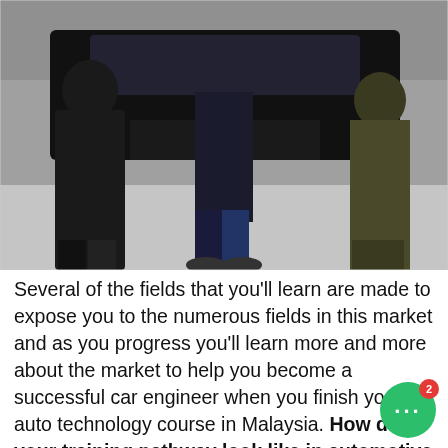[Figure (photo): Photo of several people (mechanics/students) standing in front of a dark car in what appears to be an automotive workshop or garage. A yellow stripe is visible on the concrete floor.]
Several of the fields that you'll learn are made to expose you to the numerous fields in this market and as you progress you'll learn more and more about the market to help you become a successful car engineer when you finish your auto technology course in Malaysia. How does your training pathway look like in automotive college? Automobile technology degrees are